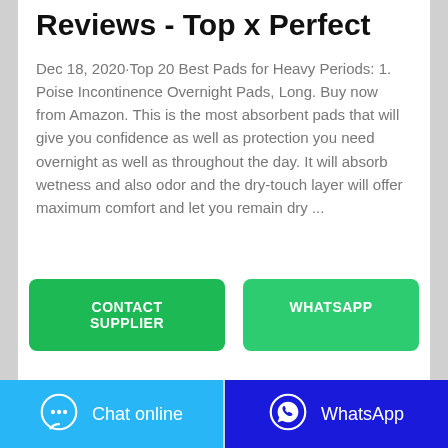Reviews - Top x Perfect
Dec 18, 2020·Top 20 Best Pads for Heavy Periods: 1. Poise Incontinence Overnight Pads, Long. Buy now from Amazon. This is the most absorbent pads that will give you confidence as well as protection you need overnight as well as throughout the day. It will absorb wetness and also odor and the dry-touch layer will offer maximum comfort and let you remain dry ...
[Figure (other): Two buttons: CONTACT SUPPLIER (green) and WHATSAPP (light green)]
Chat online | WhatsApp